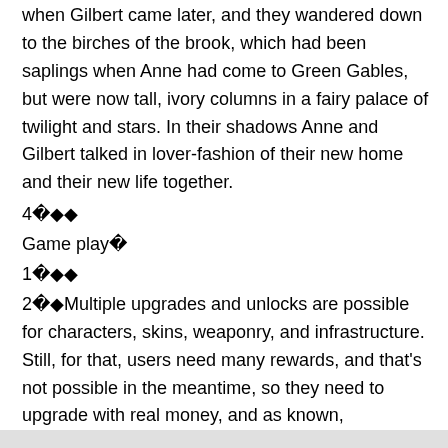when Gilbert came later, and they wandered down to the birches of the brook, which had been saplings when Anne had come to Green Gables, but were now tall, ivory columns in a fairy palace of twilight and stars. In their shadows Anne and Gilbert talked in lover-fashion of their new home and their new life together.
4 ��
Game play 
1 ��
2 �Multiple upgrades and unlocks are possible for characters, skins, weaponry, and infrastructure. Still, for that, users need many rewards, and that's not possible in the meantime, so they need to upgrade with real money, and as known, everybody can't access these. So here we have another free approach to enable those benefits.
3 To every place at once, and nowhere fixed,&#;